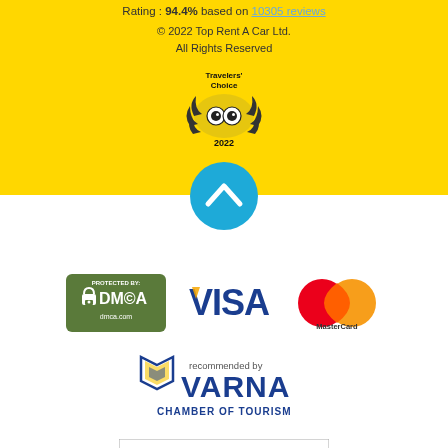Rating : 94.4% based on 10305 reviews
© 2022 Top Rent A Car Ltd.
All Rights Reserved
[Figure (logo): TripAdvisor Travelers' Choice 2022 award badge]
[Figure (other): Blue circle scroll-to-top button with chevron icon]
[Figure (logo): DMCA Protected badge]
[Figure (logo): Visa payment logo]
[Figure (logo): MasterCard payment logo]
[Figure (logo): Varna Chamber of Tourism recommended by logo]
[Figure (logo): Protected by Copyscape - Do Not Copy badge]